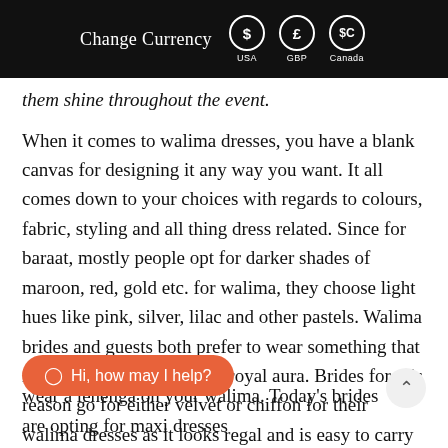Change Currency  $ USA  £ GBP  $C Canada
them shine throughout the event.
When it comes to walima dresses, you have a blank canvas for designing it any way you want. It all comes down to your choices with regards to colours, fabric, styling and all thing dress related.  Since for baraat, mostly people opt for darker shades of maroon, red, gold etc. for walima, they choose light hues like pink, silver, lilac and other pastels.  Walima brides and guests both prefer to wear something that is lightweight but carries a royal aura. Brides for this reason go for either velvet or chiffon for their walima dresses as it looks regal and is easy to carry around
wear a lehenga on your walima. Today's brides are opting for maxi dresses